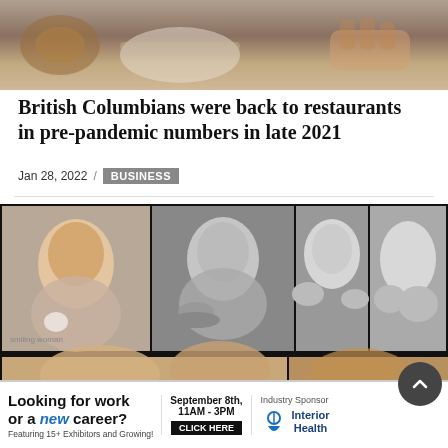[Figure (photo): Top cropped photo showing a dining table scene with hands, plates and a guitar in background, brown/warm tones]
British Columbians were back to restaurants in pre-pandemic numbers in late 2021
Jan 28, 2022 / BUSINESS
[Figure (photo): Collage of black and white photos of a woman (Betty White) with dogs at various ages/eras, plus partially visible bottom row of photos]
[Figure (infographic): Advertisement banner: Looking for work or a new career? Featuring 15+ Exhibitors and Growing! September 8th, 11AM-3PM CLICK HERE. Industry Sponsor: Interior Health logo]